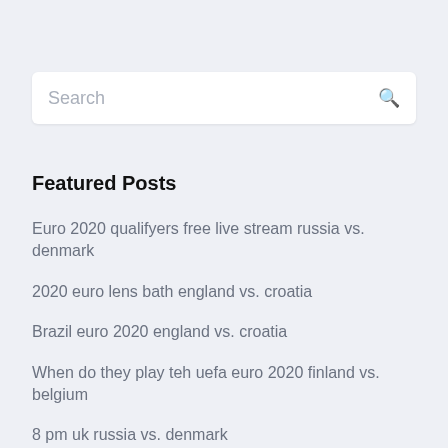Search
Featured Posts
Euro 2020 qualifyers free live stream russia vs. denmark
2020 euro lens bath england vs. croatia
Brazil euro 2020 england vs. croatia
When do they play teh uefa euro 2020 finland vs. belgium
8 pm uk russia vs. denmark